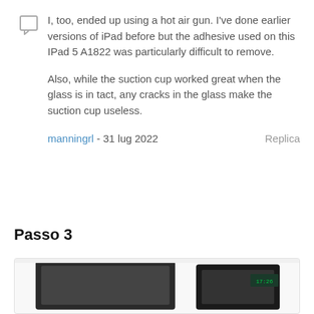I, too, ended up using a hot air gun. I've done earlier versions of iPad before but the adhesive used on this IPad 5 A1822 was particularly difficult to remove.

Also, while the suction cup worked great when the glass is in tact, any cracks in the glass make the suction cup useless.
manningrl - 31 lug 2022    Replica
Passo 3
[Figure (photo): Photo of an iPad device being repaired, showing the device partially disassembled on a work surface.]